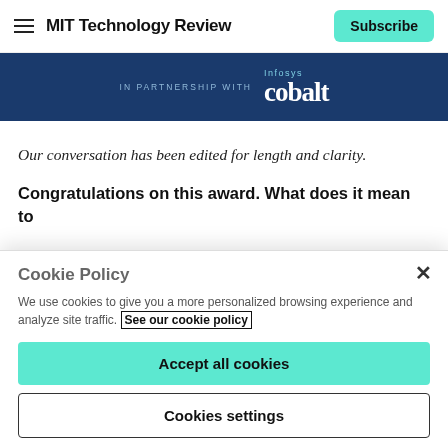MIT Technology Review | Subscribe
[Figure (other): Dark blue banner with 'IN PARTNERSHIP WITH' text and Infosys Cobalt logo in white/light blue]
Our conversation has been edited for length and clarity.
Congratulations on this award. What does it mean to
Cookie Policy
We use cookies to give you a more personalized browsing experience and analyze site traffic. See our cookie policy
Accept all cookies
Cookies settings